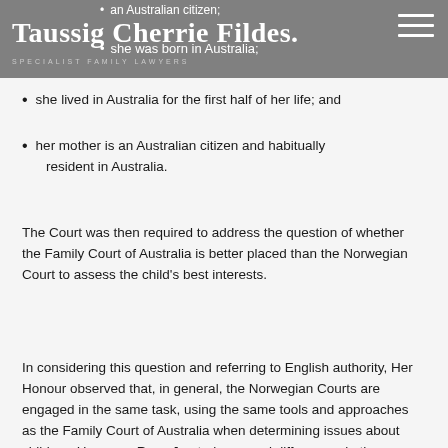Taussig Cherrie Fildes. SPECIALIST FAMILY LAWYERS
an Australian citizen;
she was born in Australia;
she lived in Australia for the first half of her life; and
her mother is an Australian citizen and habitually resident in Australia.
The Court was then required to address the question of whether the Family Court of Australia is better placed than the Norwegian Court to assess the child’s best interests.
In considering this question and referring to English authority, Her Honour observed that, in general, the Norwegian Courts are engaged in the same task, using the same tools and approaches as the Family Court of Australia when determining issues about children. However, Rees J noted nuanced differences in the respective approaches of the two courts due to the child being an Aboriginal child. Her Honour referred to jurisprudence of the High Court of